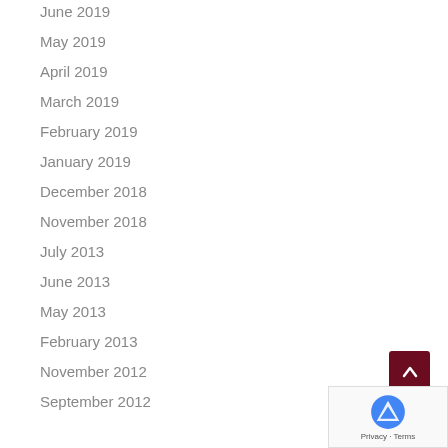June 2019
May 2019
April 2019
March 2019
February 2019
January 2019
December 2018
November 2018
July 2013
June 2013
May 2013
February 2013
November 2012
September 2012